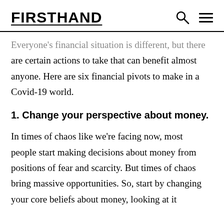FIRSTHAND
Everyone's financial situation is different, but there are certain actions to take that can benefit almost anyone. Here are six financial pivots to make in a Covid-19 world.
1. Change your perspective about money.
In times of chaos like we're facing now, most people start making decisions about money from positions of fear and scarcity. But times of chaos bring massive opportunities. So, start by changing your core beliefs about money, looking at it